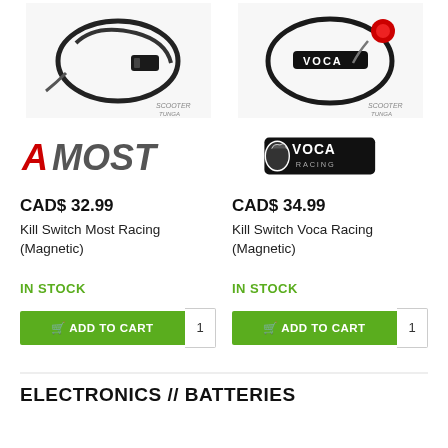[Figure (photo): Product photo of Kill Switch Most Racing (Magnetic) cable with scootertungo watermark]
[Figure (photo): Product photo of Kill Switch Voca Racing (Magnetic) with red button and voca branding, scootertungo watermark]
[Figure (logo): MOST Racing logo in red and grey]
[Figure (logo): Voca Racing logo in black with snake/dragon emblem]
CAD$ 32.99
Kill Switch Most Racing (Magnetic)
IN STOCK
ADD TO CART
CAD$ 34.99
Kill Switch Voca Racing (Magnetic)
IN STOCK
ADD TO CART
ELECTRONICS // BATTERIES